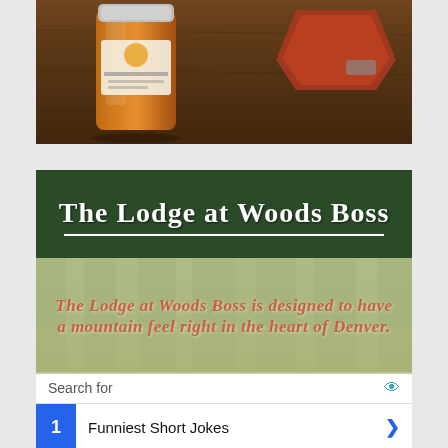[Figure (photo): Photo of a jar of orange/amber condiment or jam on a wooden table surface, with a red metallic object (appears to be a gadget or tool) partially visible to the right.]
[Figure (infographic): Advertisement for 'The Lodge at Woods Boss' with dark green header, white bold title text 'The Lodge at Woods Boss', a white horizontal divider line, and italic dark-red/brown text on a forest-blurred background reading 'The Lodge at Woods Boss is designed to have a mountain feel right in the heart of Denver.' Below is an overlaid search results panel showing 'Search for' bar with a teal eye icon, row 1: 'Funniest Short Jokes' with blue number badge and arrow, row 2: 'Really Funny Quick Jokes' with blue number badge and arrow, and a partial third row with a teal send icon.]